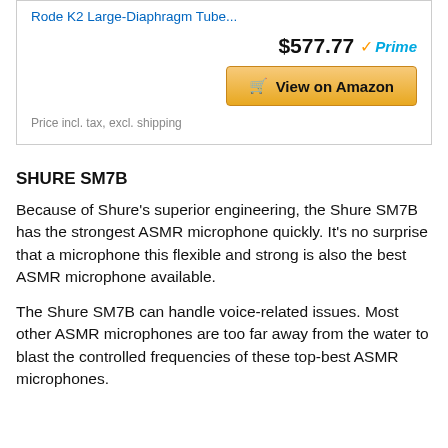Rode K2 Large-Diaphragm Tube...
$577.77 Prime
View on Amazon
Price incl. tax, excl. shipping
SHURE SM7B
Because of Shure’s superior engineering, the Shure SM7B has the strongest ASMR microphone quickly. It’s no surprise that a microphone this flexible and strong is also the best ASMR microphone available.
The Shure SM7B can handle voice-related issues. Most other ASMR microphones are too far away from the water to blast the controlled frequencies of these top-best ASMR microphones.